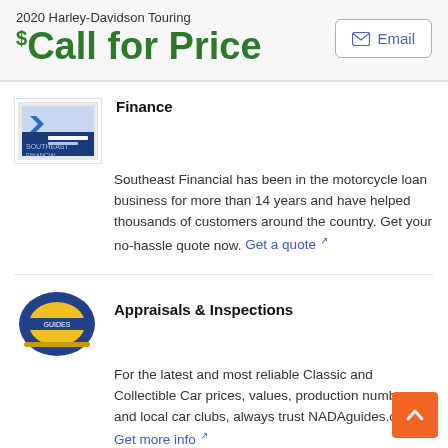2020 Harley-Davidson Touring
$Call for Price
Finance
Southeast Financial has been in the motorcycle loan business for more than 14 years and have helped thousands of customers around the country. Get your no-hassle quote now. Get a quote
Appraisals & Inspections
For the latest and most reliable Classic and Collectible Car prices, values, production numbers and local car clubs, always trust NADAguides.com. Get more info
Insurance